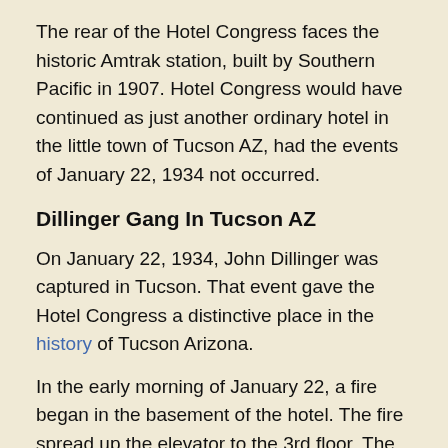The rear of the Hotel Congress faces the historic Amtrak station, built by Southern Pacific in 1907. Hotel Congress would have continued as just another ordinary hotel in the little town of Tucson AZ, had the events of January 22, 1934 not occurred.
Dillinger Gang In Tucson AZ
On January 22, 1934, John Dillinger was captured in Tucson. That event gave the Hotel Congress a distinctive place in the history of Tucson Arizona.
In the early morning of January 22, a fire began in the basement of the hotel. The fire spread up the elevator to the 3rd floor. The fire initiated a rather random chain events that lead to the capture of one of the country's more notable criminals.
As Paul Harvey would have said, “and now for the rest of the story.” Dillinger and his gang had been using the hotel...